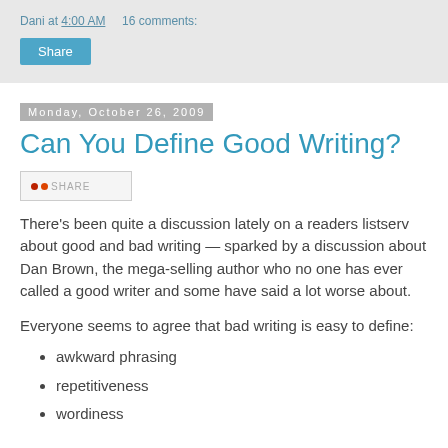Dani at 4:00 AM    16 comments:
Share
Monday, October 26, 2009
Can You Define Good Writing?
[Figure (other): Share/social widget button]
There's been quite a discussion lately on a readers listserv about good and bad writing — sparked by a discussion about Dan Brown, the mega-selling author who no one has ever called a good writer and some have said a lot worse about.
Everyone seems to agree that bad writing is easy to define:
awkward phrasing
repetitiveness
wordiness